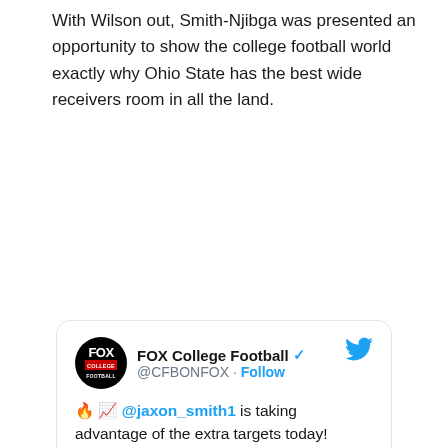With Wilson out, Smith-Njibga was presented an opportunity to show the college football world exactly why Ohio State has the best wide receivers room in all the land.
[Figure (screenshot): Embedded tweet from FOX College Football (@CFBONFOX) with fire and chart emojis, mentioning @jaxon_smith1 is taking advantage of the extra targets today, and that @OhioStateFB WR take it 75 yards for the score to give the Buckeyes a 17-3 lead. Includes a video thumbnail with 'Watch on Twitter' label and a play button.]